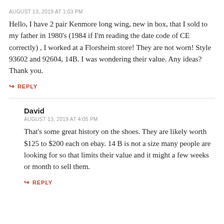AUGUST 13, 2019 AT 1:03 PM
Hello, I have 2 pair Kenmore long wing, new in box, that I sold to my father in 1980's (1984 if I'm reading the date code of CE correctly) , I worked at a Florsheim store! They are not worn! Style 93602 and 92604, 14B. I was wondering their value. Any ideas? Thank you.
↳ REPLY
David
AUGUST 13, 2019 AT 4:05 PM
That's some great history on the shoes. They are likely worth $125 to $200 each on ebay. 14 B is not a size many people are looking for so that limits their value and it might a few weeks or month to sell them.
↳ REPLY